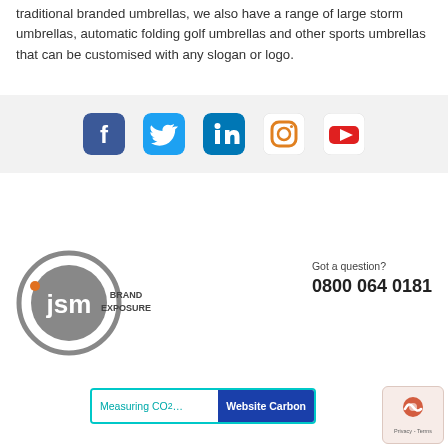traditional branded umbrellas, we also have a range of large storm umbrellas, automatic folding golf umbrellas and other sports umbrellas that can be customised with any slogan or logo.
[Figure (infographic): Social media icons row: Facebook (dark blue), Twitter (light blue), LinkedIn (medium blue), Instagram (orange outline), YouTube (red)]
[Figure (logo): JSM Brand Exposure logo — circular grey logo with 'jsm' text inside and orange dot, plus 'BRAND EXPOSURE' text to the right]
Got a question?
0800 064 0181
[Figure (infographic): Website Carbon widget showing 'Measuring CO2...' on left side with teal border and 'Website Carbon' on right side in dark blue]
[Figure (other): Privacy & Terms reCAPTCHA-style badge in bottom right corner]